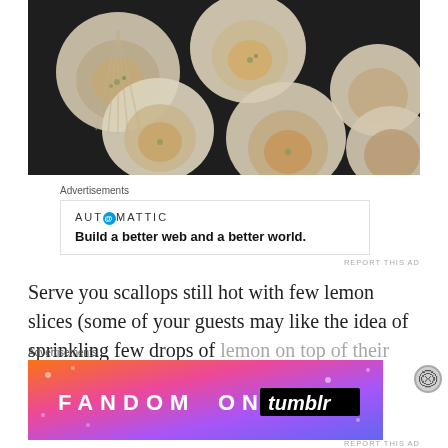[Figure (photo): Overhead view of baked scallops served in their shells arranged on a dark baking tray]
Advertisements
[Figure (infographic): Automattic advertisement: AUT@MATTIC logo with tagline 'Build a better web and a better world.']
REPORT THIS AD
Serve you scallops still hot with few lemon slices (some of your guests may like the idea of sprinkling few drops of lemon on top of their scallops) and don't forget to...
Advertisements
[Figure (infographic): Fandom on Tumblr advertisement banner with colorful gradient background showing 'FANDOM ON tumblr' text]